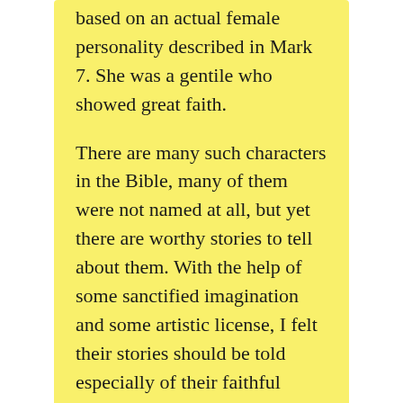based on an actual female personality described in Mark 7. She was a gentile who showed great faith.

There are many such characters in the Bible, many of them were not named at all, but yet there are worthy stories to tell about them. With the help of some sanctified imagination and some artistic license, I felt their stories should be told especially of their faithful encounters with Jesus Christ.
johannquis / May 4, 2022 / Leave a comment